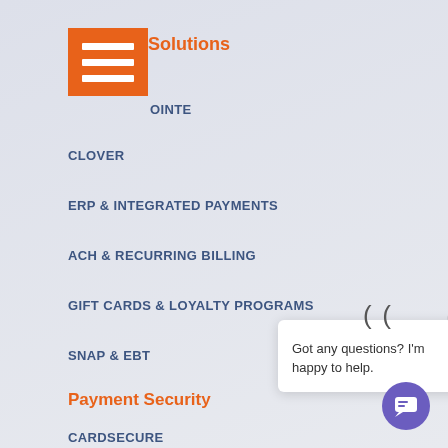Payment Solutions
EPOINTE
CLOVER
ERP & INTEGRATED PAYMENTS
ACH & RECURRING BILLING
GIFT CARDS & LOYALTY PROGRAMS
SNAP & EBT
Payment Security
CARDSECURE
TRANSARMOR
PCI COMPLIANCE
About Us
Got any questions? I'm happy to help.